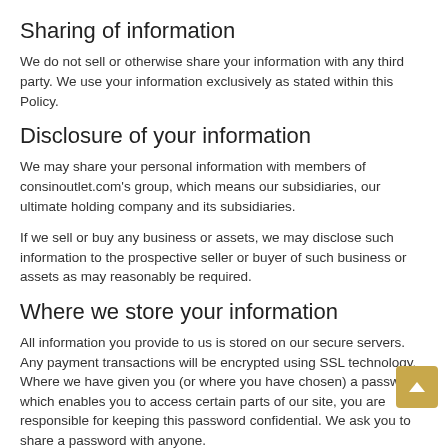Sharing of information
We do not sell or otherwise share your information with any third party. We use your information exclusively as stated within this Policy.
Disclosure of your information
We may share your personal information with members of consinoutlet.com's group, which means our subsidiaries, our ultimate holding company and its subsidiaries.
If we sell or buy any business or assets, we may disclose such information to the prospective seller or buyer of such business or assets as may reasonably be required.
Where we store your information
All information you provide to us is stored on our secure servers. Any payment transactions will be encrypted using SSL technology. Where we have given you (or where you have chosen) a password which enables you to access certain parts of our site, you are responsible for keeping this password confidential. We ask you to share a password with anyone.